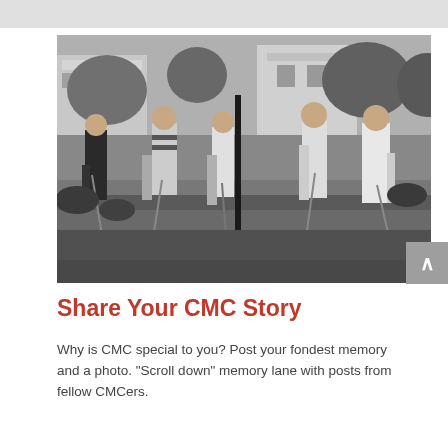[Figure (photo): Black and white photograph of five young men outdoors, holding golf clubs or croquet mallets, playing a lawn game. Buildings and trees visible in background.]
Share Your CMC Story
Why is CMC special to you? Post your fondest memory and a photo. "Scroll down" memory lane with posts from fellow CMCers.